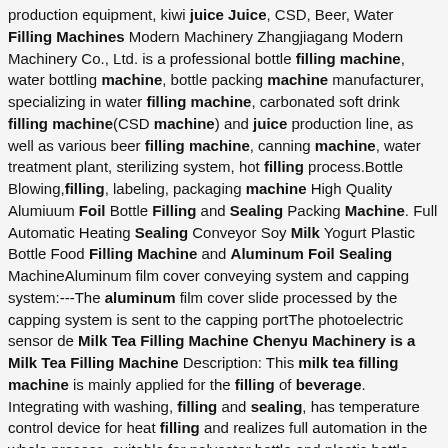production equipment, kiwi juice Juice, CSD, Beer, Water Filling Machines Modern Machinery Zhangjiagang Modern Machinery Co., Ltd. is a professional bottle filling machine, water bottling machine, bottle packing machine manufacturer, specializing in water filling machine, carbonated soft drink filling machine(CSD machine) and juice production line, as well as various beer filling machine, canning machine, water treatment plant, sterilizing system, hot filling process.Bottle Blowing,filling, labeling, packaging machine High Quality Alumiuum Foil Bottle Filling and Sealing Packing Machine. Full Automatic Heating Sealing Conveyor Soy Milk Yogurt Plastic Bottle Food Filling Machine and Aluminum Foil Sealing MachineAluminum film cover conveying system and capping system:---The aluminum film cover slide processed by the capping system is sent to the capping portThe photoelectric sensor de Milk Tea Filling Machine Chenyu Machinery is a Milk Tea Filling Machine Description: This milk tea filling machine is mainly applied for the filling of beverage. Integrating with washing, filling and sealing, has temperature control device for heat filling and realizes full automation in the whole process, suitable for polyester bottle and plastic bottle filling of juice Water Filling Line, High Speed Water Filling Line - Fillex High Quality Alumiuum Foil Bottle Filling and Sealing Packing Machine . Full Automatic Heating Sealing Conveyor Soy Milk Yogurt Plastic Botte